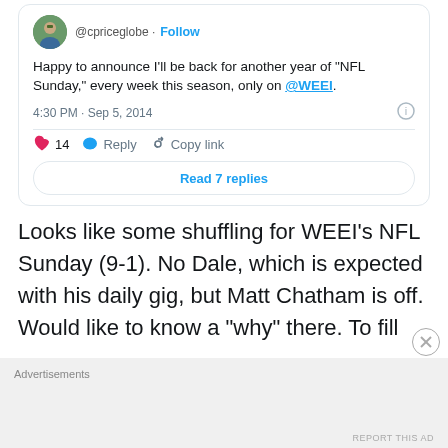[Figure (screenshot): Tweet from @cpriceglobe with Follow button, avatar photo, tweet text, timestamp, like/reply/copy link actions, and Read 7 replies button]
Looks like some shuffling for WEEI's NFL Sunday (9-1). No Dale, which is expected with his daily gig, but Matt Chatham is off. Would like to know a “why” there. To fill
Advertisements
REPORT THIS AD